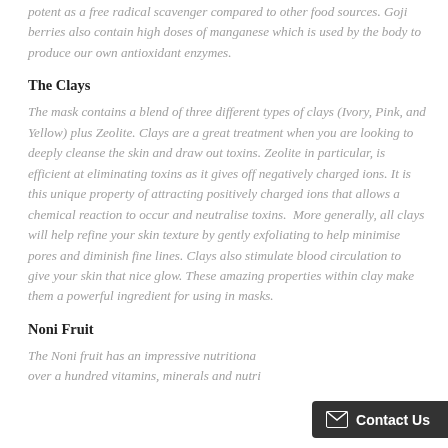potent as a free radical scavenger compared to other food sources. Goji berries also contain high doses of manganese which is used by the body to produce our own antioxidant enzymes.
The Clays
The mask contains a blend of three different types of clays (Ivory, Pink, and Yellow) plus Zeolite. Clays are a great treatment when you are looking to deeply cleanse the skin and draw out toxins. Zeolite in particular, is efficient at eliminating toxins as it gives off negatively charged ions. It is this unique property of attracting positively charged ions that allows a chemical reaction to occur and neutralise toxins.  More generally, all clays will help refine your skin texture by gently exfoliating to help minimise pores and diminish fine lines. Clays also stimulate blood circulation to give your skin that nice glow. These amazing properties within clay make them a powerful ingredient for using in masks.
Noni Fruit
The Noni fruit has an impressive nutritiona… over a hundred vitamins, minerals and nutri…